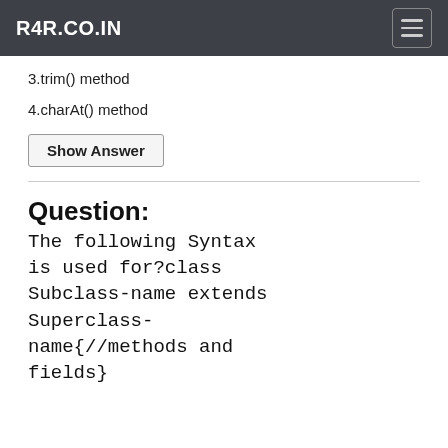R4R.CO.IN
3.trim() method
4.charAt() method
Show Answer
Question:
The following Syntax is used for?class Subclass-name extends Superclass-name{//methods and fields}